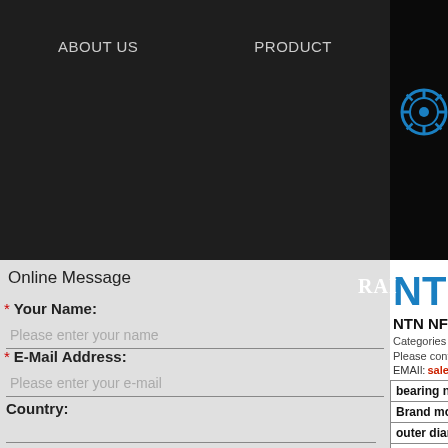ABOUT US   PRODUCT
Online Message
* Your Name:
Please enter your name
* E-Mail Address:
Please enter your e-mail
Country:
[Figure (logo): NTN brand logo in blue]
NTN NF206 be
Categories：NTN bear
Please contact Email for any inqu
EMAIl:sale@topbearing-sa
| bearing name: |
| Brand model : |
| outer diameter D : |
| diameter d : |
| thickness B : |